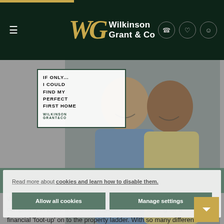[Figure (screenshot): Wilkinson Grant & Co website screenshot showing navigation bar with WG logo, hero section with couple photo and 'If Only I Could Find My Perfect First Home' ad card, cookie consent overlay with 'Allow all cookies' and 'Manage settings' buttons, and body text about Help to Buy scheme]
WG Wilkinson Grant & Co
IF ONLY... I COULD FIND MY PERFECT FIRST HOME - WILKINSON GRANT & CO
Read more about cookies and learn how to disable them.
Allow all cookies
Manage settings
With 'Help to Buy' rules set to change in April 2021 and due to end completely in 2023, time is running out for those looking for a financial 'foot-up' on to the property ladder. With so many different government-backed schemes out there, it can seem a bit of a minefield knowing which scheme is right for you. Our New Homes team work with specialist